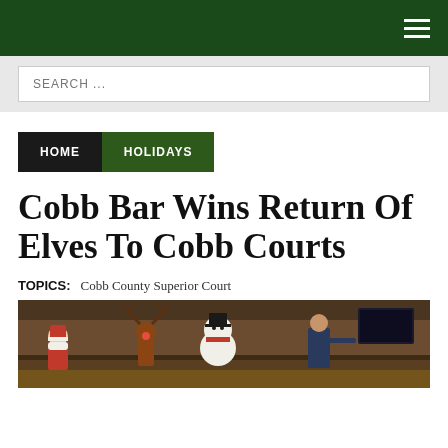Navigation bar with hamburger menu
SEARCH ...
HOME   HOLIDAYS
Cobb Bar Wins Return Of Elves To Cobb Courts
TOPICS:   Cobb County Superior Court
[Figure (photo): Photo of people dressed in holiday costumes including a snowman, reindeer, and Santa Claus in a courtroom setting, with a man in a suit pointing.]